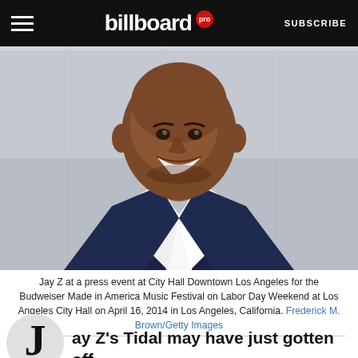billboard pro SUBSCRIBE
[Figure (photo): Jay Z smiling, wearing a navy suit with white formal shirt/collar, photographed outdoors against a light stone wall background.]
Jay Z at a press event at City Hall Downtown Los Angeles for the Budweiser Made in America Music Festival on Labor Day Weekend at Los Angeles City Hall on April 16, 2014 in Los Angeles, California. Frederick M. Brown/Getty Images
Jay Z's Tidal may have just gotten off